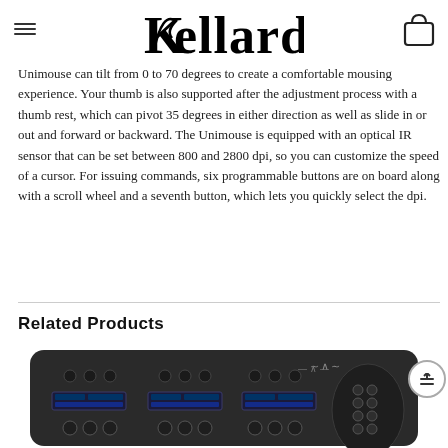Kellards
Unimouse can tilt from 0 to 70 degrees to create a comfortable mousing experience. Your thumb is also supported after the adjustment process with a thumb rest, which can pivot 35 degrees in either direction as well as slide in or out and forward or backward. The Unimouse is equipped with an optical IR sensor that can be set between 800 and 2800 dpi, so you can customize the speed of a cursor. For issuing commands, six programmable buttons are on board along with a scroll wheel and a seventh button, which lets you quickly select the dpi.
Related Products
[Figure (photo): A black WAVE brand controller/keypad device with multiple buttons, LCD displays, and a round control pad area, photographed from above on a white background.]